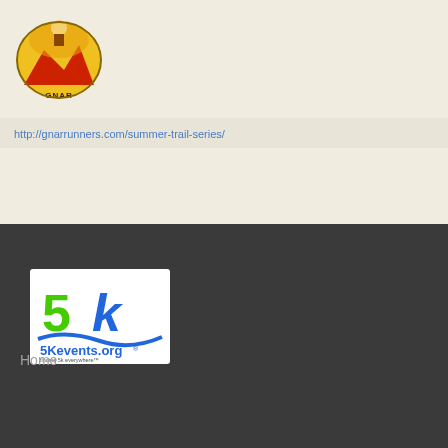[Figure (logo): Gnar Runners logo — oval shape with mountain scene, red and yellow coloring, text 'GNAR Runners']
http://gnarrunners.com/summer-trail-series/
Lory Summer Trail Series - Disclaimer
[Figure (logo): 5Kevents.org logo — green '5k' text with blue water wave and '5Kevents.org' text below on white background]
Home